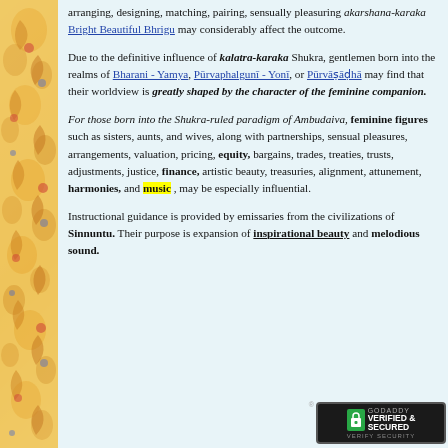arranging, designing, matching, pairing, sensually pleasuring akarshana-karaka Bright Beautiful Bhrigu may considerably affect the outcome.
Due to the definitive influence of kalatra-karaka Shukra, gentlemen born into the realms of Bharani - Yamya, Pūrvaphalgunī - Yonī, or Pūrvāṣāḍhā may find that their worldview is greatly shaped by the character of the feminine companion.
For those born into the Shukra-ruled paradigm of Ambudaiva, feminine figures such as sisters, aunts, and wives, along with partnerships, sensual pleasures, arrangements, valuation, pricing, equity, bargains, trades, treaties, trusts, adjustments, justice, finance, artistic beauty, treasuries, alignment, attunement, harmonies, and music , may be especially influential.
Instructional guidance is provided by emissaries from the civilizations of Sinnuntu. Their purpose is expansion of inspirational beauty and melodious sound.